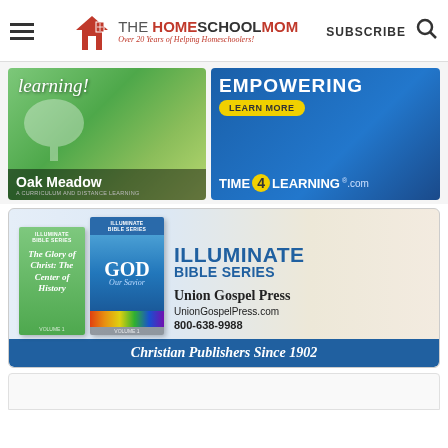THE HOME SCHOOL MOM — Over 20 Years of Helping Homeschoolers! | SUBSCRIBE
[Figure (illustration): Oak Meadow curriculum ad showing child holding a basket with text 'learning!' and green tree illustration. Brand name 'Oak Meadow' displayed at bottom.]
[Figure (illustration): Time4Learning ad with blue background, woman and child, text 'EMPOWERING', yellow 'LEARN MORE' button, and 'TIME4LEARNING.com' logo at bottom.]
[Figure (illustration): Illuminate Bible Series ad from Union Gospel Press showing two books ('The Glory of Christ: The Center of History' and 'GOD Our Savior'), blue title 'ILLUMINATE BIBLE SERIES', Union Gospel Press branding, UnionGospelPress.com, 800-638-9988, and blue banner 'Christian Publishers Since 1902'.]